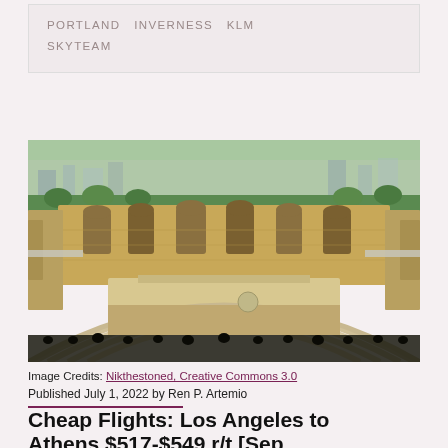PORTLAND INVERNESS KLM SKYTEAM
[Figure (photo): Aerial view of an ancient Greek theatre (Odeon of Herodes Atticus at the Acropolis, Athens), showing the semicircular stone seating rows, stone stage ruins with arched openings, and a view over the city of Athens with trees and buildings in the background.]
Image Credits: Nikthestoned, Creative Commons 3.0
Published July 1, 2022 by Ren P. Artemio
Cheap Flights: Los Angeles to Athens $517-$549 r/t [Sep…